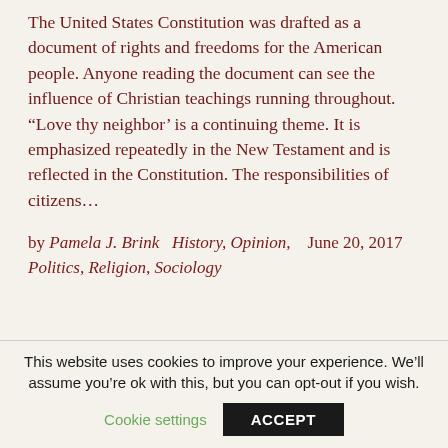The United States Constitution was drafted as a document of rights and freedoms for the American people. Anyone reading the document can see the influence of Christian teachings running throughout. “Love thy neighbor’ is a continuing theme. It is emphasized repeatedly in the New Testament and is reflected in the Constitution. The responsibilities of citizens…
by Pamela J. Brink   History, Opinion,   June 20, 2017 Politics, Religion, Sociology
This website uses cookies to improve your experience. We’ll assume you’re ok with this, but you can opt-out if you wish.
Cookie settings   ACCEPT